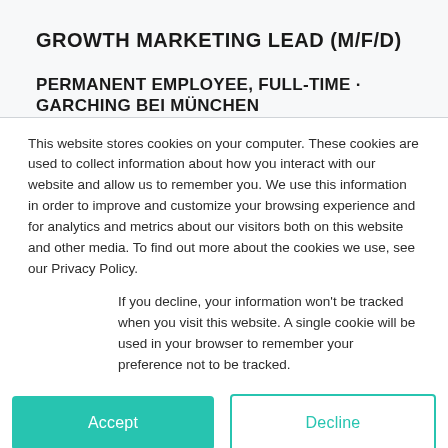GROWTH MARKETING LEAD (M/F/D)
PERMANENT EMPLOYEE, FULL-TIME · GARCHING BEI MÜNCHEN
This website stores cookies on your computer. These cookies are used to collect information about how you interact with our website and allow us to remember you. We use this information in order to improve and customize your browsing experience and for analytics and metrics about our visitors both on this website and other media. To find out more about the cookies we use, see our Privacy Policy.
If you decline, your information won't be tracked when you visit this website. A single cookie will be used in your browser to remember your preference not to be tracked.